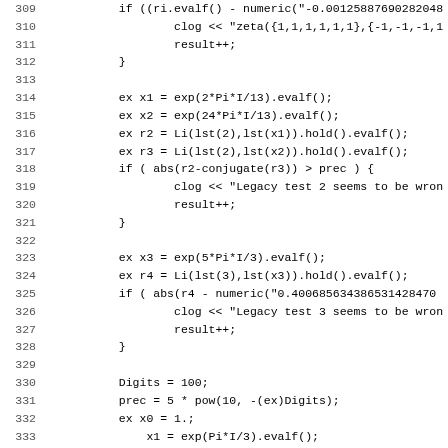Code listing lines 309-341, C++ source code for mathematical tests involving polylogarithm functions Li, exponentials, and numeric precision checks.